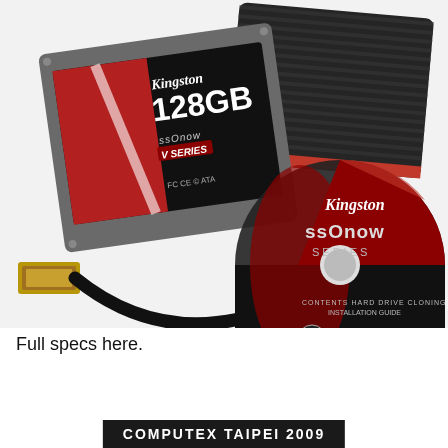[Figure (photo): Kingston SSDNow V Series 128GB solid state drive shown with its USB cable, external enclosure (black ribbed box with red trim), and a Kingston SSDNow Series CD/DVD containing hard drive cloning software and installation guide.]
Full specs here.
COMPUTEX TAIPEI 2009